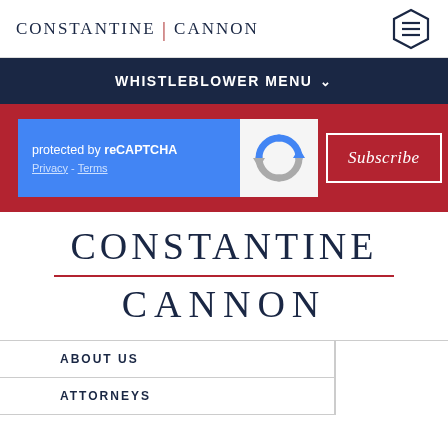CONSTANTINE | CANNON
WHISTLEBLOWER MENU
[Figure (screenshot): reCAPTCHA widget showing 'protected by reCAPTCHA' with Privacy - Terms links, reCAPTCHA logo, and a Subscribe button, all on a red background.]
CONSTANTINE
CANNON
ABOUT US
ATTORNEYS